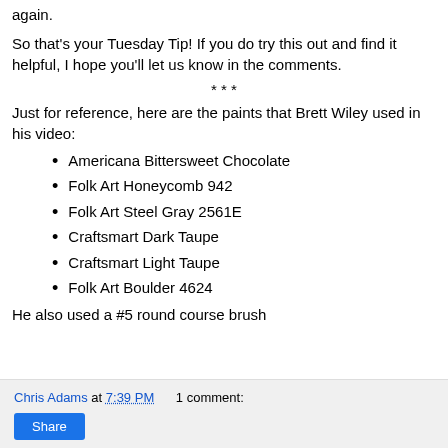again.
So that's your Tuesday Tip! If you do try this out and find it helpful, I hope you'll let us know in the comments.
* * *
Just for reference, here are the paints that Brett Wiley used in his video:
Americana Bittersweet Chocolate
Folk Art Honeycomb 942
Folk Art Steel Gray 2561E
Craftsmart Dark Taupe
Craftsmart Light Taupe
Folk Art Boulder 4624
He also used a #5 round course brush
Chris Adams at 7:39 PM   1 comment:  Share